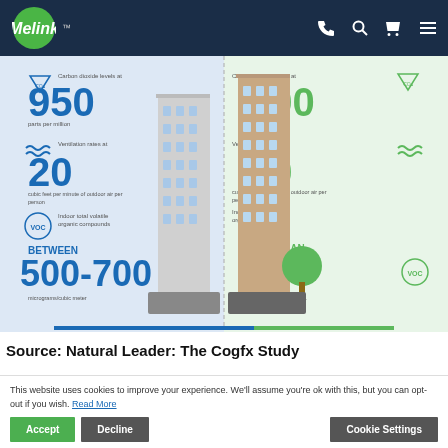[Figure (logo): Melink logo - green circle with white italic Melink text]
[Figure (infographic): Split-building infographic comparing poor vs good indoor air quality. Left side (blue): CO2 at 950 ppm, ventilation at 20 cfm/person, VOC between 500-700 micrograms/cubic meter. Right side (green): CO2 at 600 ppm, ventilation at 40 cfm/person, VOC less than 50 micrograms/cubic meter. Center shows isometric building illustration.]
Source: Natural Leader: The Cogfx Study
This website uses cookies to improve your experience. We'll assume you're ok with this, but you can opt-out if you wish. Read More